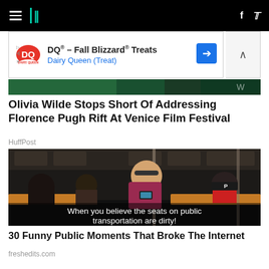HuffPost navigation bar with hamburger menu, logo, Facebook and Twitter icons
[Figure (other): Dairy Queen advertisement banner: DQ® - Fall Blizzard® Treats / Dairy Queen (Treat) with DQ logo and blue direction arrow]
[Figure (other): Partial top of article image showing dark green/teal background]
Olivia Wilde Stops Short Of Addressing Florence Pugh Rift At Venice Film Festival
HuffPost
[Figure (photo): Subway car scene: man in magenta shirt leaning over seats looking at phone, other passengers seated around him. White caption text at bottom reads: When you believe the seats on public transportation are dirty!]
30 Funny Public Moments That Broke The Internet
freshedits.com